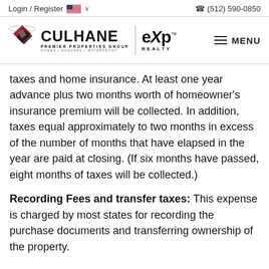Login / Register  🇺🇸 ∨    📞 (512) 590-0850
[Figure (logo): Culhane Premier Properties Group with eXp Realty logo]
taxes and home insurance. At least one year advance plus two months worth of homeowner's insurance premium will be collected. In addition, taxes equal approximately to two months in excess of the number of months that have elapsed in the year are paid at closing. (If six months have passed, eight months of taxes will be collected.)
Recording Fees and transfer taxes: This expense is charged by most states for recording the purchase documents and transferring ownership of the property.